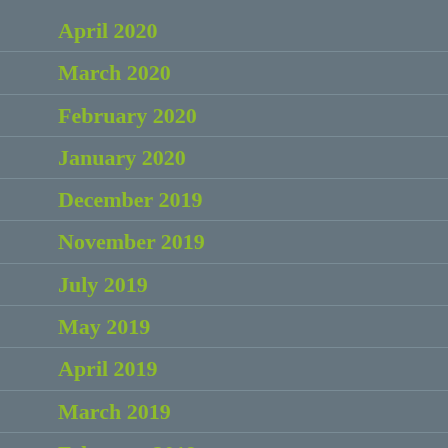April 2020
March 2020
February 2020
January 2020
December 2019
November 2019
July 2019
May 2019
April 2019
March 2019
February 2019